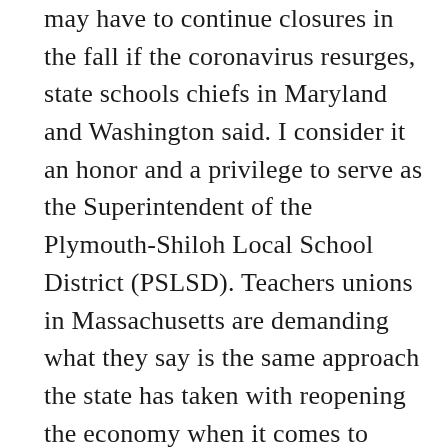may have to continue closures in the fall if the coronavirus resurges, state schools chiefs in Maryland and Washington said. I consider it an honor and a privilege to serve as the Superintendent of the Plymouth-Shiloh Local School District (PSLSD). Teachers unions in Massachusetts are demanding what they say is the same approach the state has taken with reopening the economy when it comes to going back to school. Read More PLYMOUTH — With the reality that all decisions about reopening schools must be mindful that no strategies will completely eliminate the risk of transmission as long as the coronavirus is ... Butler Pike To Reopen As Major Construction